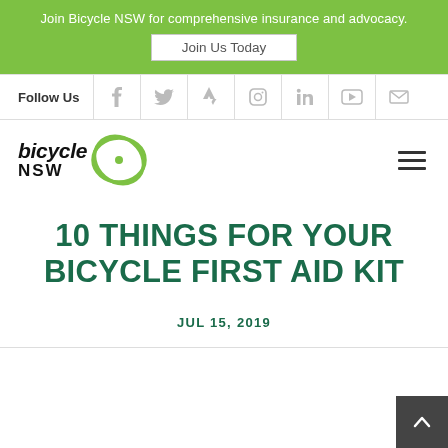Join Bicycle NSW for comprehensive insurance and advocacy.
Join Us Today
Follow Us
[Figure (logo): Bicycle NSW logo with italic 'bicycle' text and green circular wheel graphic]
10 THINGS FOR YOUR BICYCLE FIRST AID KIT
JUL 15, 2019